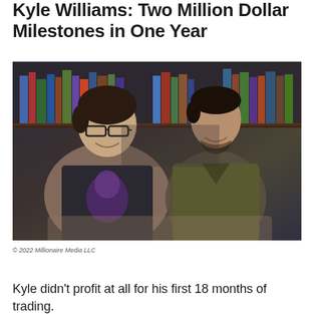Kyle Williams: Two Million Dollar Milestones in One Year
[Figure (photo): Two men sitting together smiling in front of a bookshelf. The man on the left wears glasses and a dark t-shirt with a purple wolf graphic. The man on the right wears an olive/green hoodie.]
© 2022 Millionaire Media LLC
Kyle didn't profit at all for his first 18 months of trading.